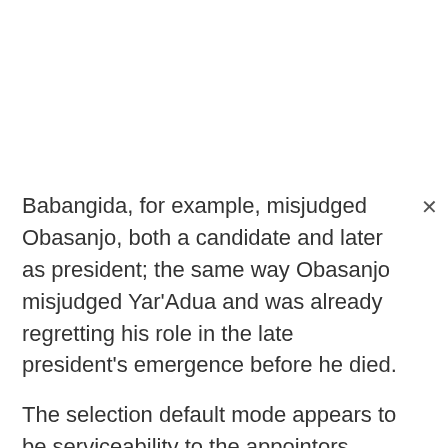Babangida, for example, misjudged Obasanjo, both a candidate and later as president; the same way Obasanjo misjudged Yar'Adua and was already regretting his role in the late president's emergence before he died.
The selection default mode appears to be serviceability to the appointors.
Usefulness to the country or the task at hand is incidental.
Whatever happens in the next few weeks, just as